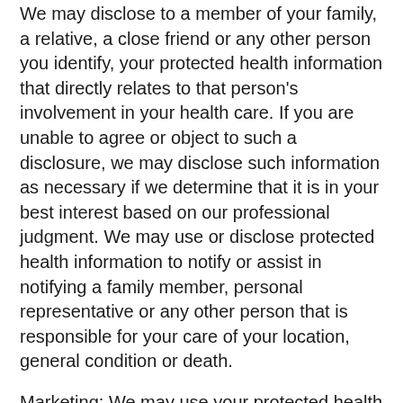We may disclose to a member of your family, a relative, a close friend or any other person you identify, your protected health information that directly relates to that person's involvement in your health care. If you are unable to agree or object to such a disclosure, we may disclose such information as necessary if we determine that it is in your best interest based on our professional judgment. We may use or disclose protected health information to notify or assist in notifying a family member, personal representative or any other person that is responsible for your care of your location, general condition or death.
Marketing: We may use your protected health information to contact you with information about treatment alternatives that may be of interest to you. We may disclose your protected health information to a business associate to assist us in these activities. Unless the information is provided to you by a general